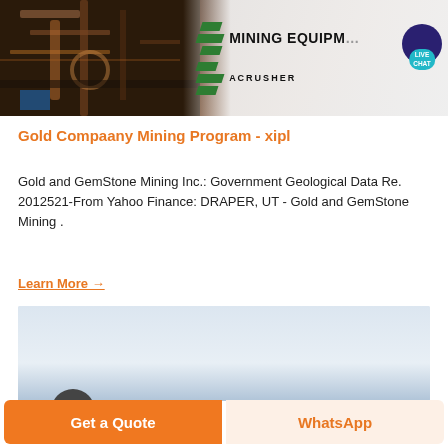[Figure (photo): Mining equipment photo with an ACrusher branding overlay showing green diagonal bars and 'MINING EQUIPMENT' text, plus a live chat bubble on the right side]
Gold Compaany Mining Program - xipl
Gold and GemStone Mining Inc.: Government Geological Data Re. 2012521-From Yahoo Finance: DRAPER, UT - Gold and GemStone Mining .
Learn More →
[Figure (photo): Partial second image, mostly light blue-grey background, with a dark circular element visible at the bottom]
Get a Quote
WhatsApp